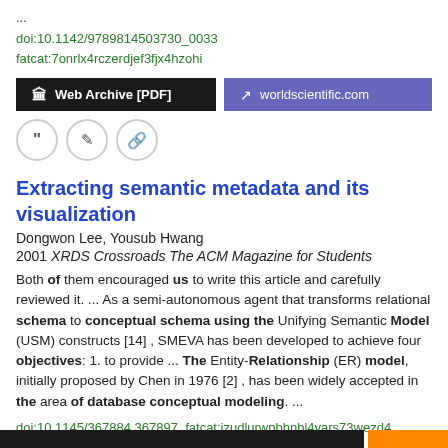...
doi:10.1142/9789814503730_0033
fatcat:7onrlx4rczerdjef3fjx4hzohi
[Figure (screenshot): Two buttons: 'Web Archive [PDF]' (dark/black background) and 'worldscientific.com' (purple background)]
[Figure (screenshot): Three circular icon buttons: quote, edit, and link]
Extracting semantic metadata and its visualization
Dongwon Lee, Yousub Hwang
2001 XRDS Crossroads The ACM Magazine for Students
Both of them encouraged us to write this article and carefully reviewed it.  ...  As a semi-autonomous agent that transforms relational schema to conceptual schema using the Unifying Semantic Model (USM) constructs [14] , SMEVA has been developed to achieve four objectives: 1. to provide  ...  The Entity-Relationship (ER) model, initially proposed by Chen in 1976 [2] , has been widely accepted in the area of database conceptual modeling.  ...
doi:10.1145/367884.367897  fatcat:izudlurwpbhnbl4yars73wezd4
Szczepanski
[Figure (screenshot): Bottom bar with black and orange sections]